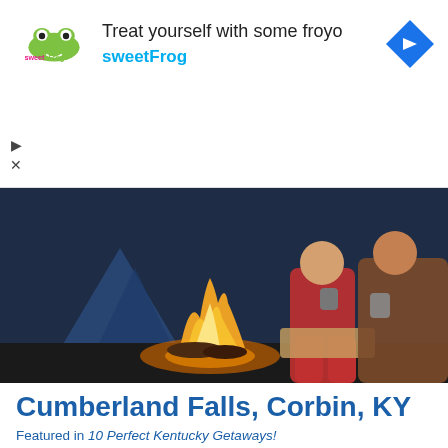[Figure (screenshot): Advertisement banner for sweetFrog frozen yogurt. Shows sweetFrog logo on the left, headline 'Treat yourself with some froyo' and brand name 'sweetFrog' in blue, with a blue diamond navigation icon on the right.]
[Figure (photo): Photograph of two people sitting by a campfire near a tent at dusk, holding mugs, with a golden campfire in the foreground.]
Cumberland Falls, Corbin, KY
Featured in 10 Perfect Kentucky Getaways!
Nicknamed “The Niagara of the South,” Cumberland Falls is a massive 125-foot wide waterfall found in